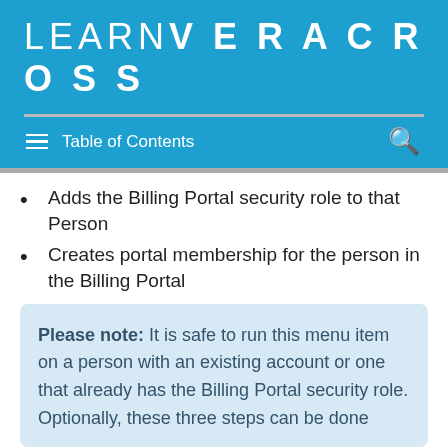LEARNVERACROSS
Table of Contents
Adds the Billing Portal security role to that Person
Creates portal membership for the person in the Billing Portal
Please note: It is safe to run this menu item on a person with an existing account or one that already has the Billing Portal security role. Optionally, these three steps can be done